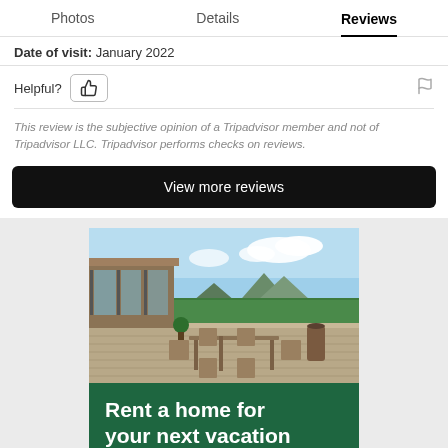Photos   Details   Reviews
Date of visit: January 2022
Helpful?
This review is the subjective opinion of a Tripadvisor member and not of Tripadvisor LLC. Tripadvisor performs checks on reviews.
View more reviews
[Figure (photo): Outdoor patio/deck of a vacation rental home with dining table and chairs, glass-walled house behind, green hedges and mountains in background under blue sky]
Rent a home for your next vacation
Explore rentals